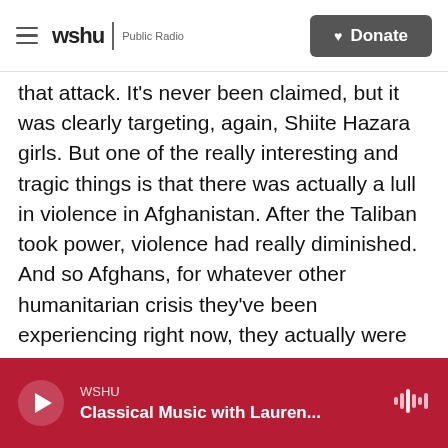wshu | Public Radio  Donate
that attack. It's never been claimed, but it was clearly targeting, again, Shiite Hazara girls. But one of the really interesting and tragic things is that there was actually a lull in violence in Afghanistan. After the Taliban took power, violence had really diminished. And so Afghans, for whatever other humanitarian crisis they've been experiencing right now, they actually were enjoying some relative security. Now, that, too, has been stripped away. And these bombings in some way seem to be a message to the Taliban that they're not going to be able to enforce security across the country.
WSHU  Classical Music with Lauren...